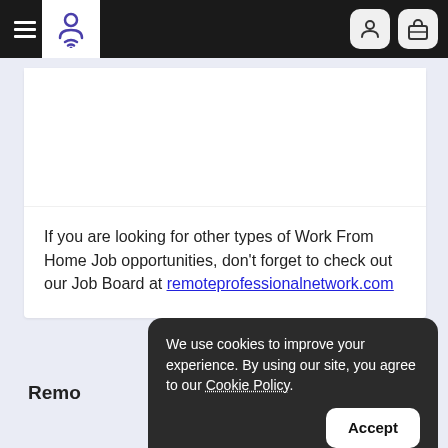Remote Professional Network - navigation bar with hamburger menu, logo, user icon, and briefcase icon
If you are looking for other types of Work From Home Job opportunities, don't forget to check out our Job Board at remoteprofessionalnetwork.com
Remo
Terms Of Service
We use cookies to improve your experience. By using our site, you agree to our Cookie Policy. Accept